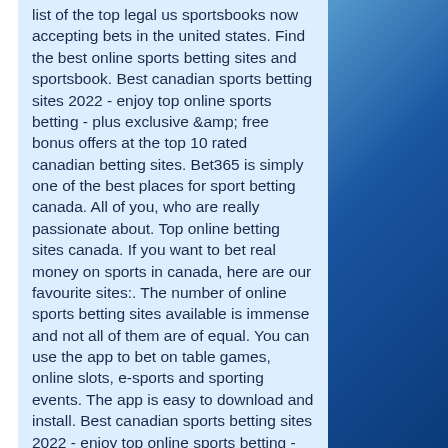list of the top legal us sportsbooks now accepting bets in the united states. Find the best online sports betting sites and sportsbook. Best canadian sports betting sites 2022 - enjoy top online sports betting - plus exclusive &amp; free bonus offers at the top 10 rated canadian betting sites. Bet365 is simply one of the best places for sport betting canada. All of you, who are really passionate about. Top online betting sites canada. If you want to bet real money on sports in canada, here are our favourite sites:. The number of online sports betting sites available is immense and not all of them are of equal. You can use the app to bet on table games, online slots, e-sports and sporting events. The app is easy to download and install. Best canadian sports betting sites 2022 - enjoy top online sports betting - plus exclusive &amp; free bonus offers at the top 10 rated canadian betting sites. Mansionbet is a solid addition to the